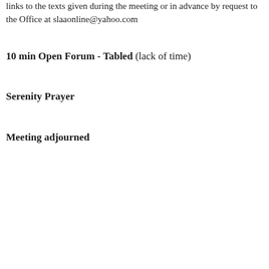links to the texts given during the meeting or in advance by request to the Office at slaaonline@yahoo.com
10 min Open Forum - Tabled (lack of time)
Serenity Prayer
Meeting adjourned